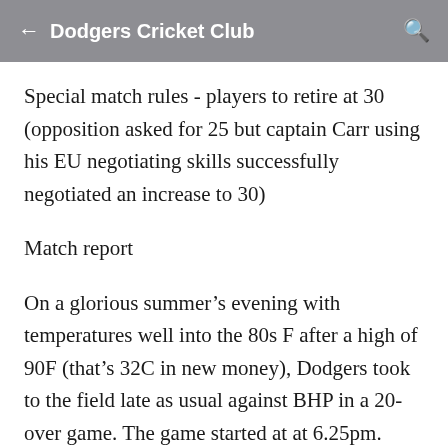Dodgers Cricket Club
Special match rules - players to retire at 30 (opposition asked for 25 but captain Carr using his EU negotiating skills successfully negotiated an increase to 30)
Match report
On a glorious summer’s evening with temperatures well into the 80s F after a high of 90F (that’s 32C in new money), Dodgers took to the field late as usual against BHP in a 20-over game. The game started at at 6.25pm. Since we